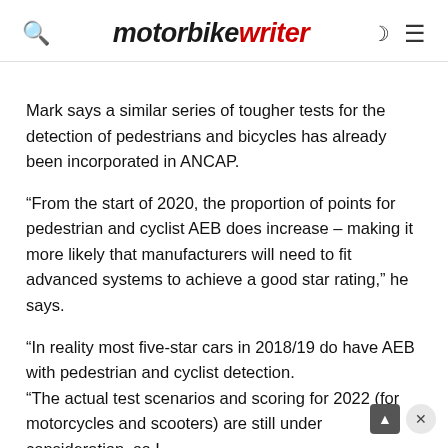motorbike writer
Mark says a similar series of tougher tests for the detection of pedestrians and bicycles has already been incorporated in ANCAP.
“From the start of 2020, the proportion of points for pedestrian and cyclist AEB does increase – making it more likely that manufacturers will need to fit advanced systems to achieve a good star rating,” he says.
“In reality most five-star cars in 2018/19 do have AEB with pedestrian and cyclist detection. “The actual test scenarios and scoring for 2022 (for motorcycles and scooters) are still under consideration, so I don’t have further detail on these that I can provide at the moment.”